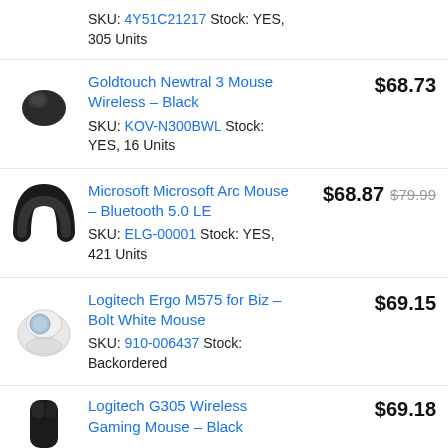SKU: 4Y51C21217 Stock: YES, 305 Units
Goldtouch Newtral 3 Mouse Wireless - Black | SKU: KOV-N300BWL Stock: YES, 16 Units | $68.73
Microsoft Microsoft Arc Mouse - Bluetooth 5.0 LE | SKU: ELG-00001 Stock: YES, 421 Units | $68.87 $79.99
Logitech Ergo M575 for Biz - Bolt White Mouse | SKU: 910-006437 Stock: Backordered | $69.15
Logitech G305 Wireless Gaming Mouse - Black | $69.18